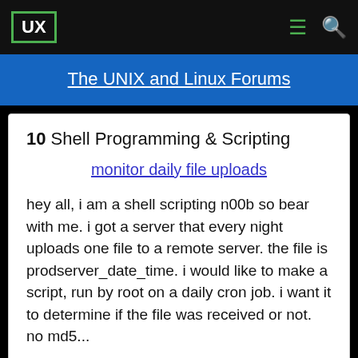UX | The UNIX and Linux Forums
10  Shell Programming & Scripting
monitor daily file uploads
hey all, i am a shell scripting n00b so bear with me. i got a server that every night uploads one file to a remote server. the file is prodserver_date_time. i would like to make a script, run by root on a daily cron job. i want it to determine if the file was received or not. no md5...